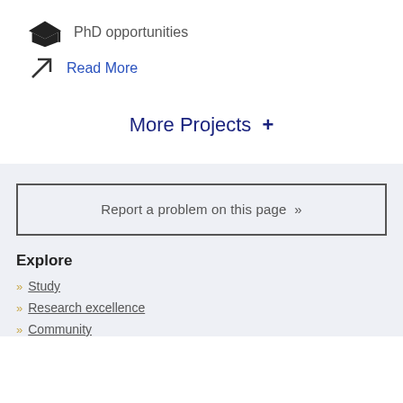PhD opportunities
Read More
More Projects +
Report a problem on this page »
Explore
Study
Research excellence
Community